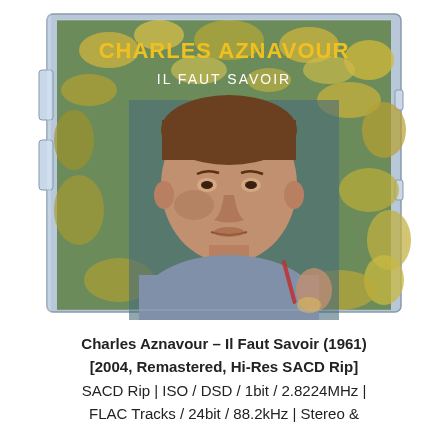[Figure (photo): CD jewel case containing the album 'Il Faut Savoir' by Charles Aznavour. The cover shows a close-up photo of Charles Aznavour outdoors among foliage. Text on cover reads 'CHARLES AZNAVOUR' in yellow at top and 'IL FAUT SAVOIR' in white below it.]
Charles Aznavour – Il Faut Savoir (1961) [2004, Remastered, Hi-Res SACD Rip] SACD Rip | ISO / DSD / 1bit / 2.8224MHz | FLAC Tracks / 24bit / 88.2kHz | Stereo &